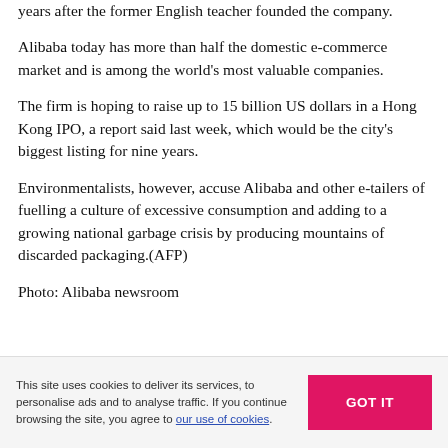years after the former English teacher founded the company.
Alibaba today has more than half the domestic e-commerce market and is among the world's most valuable companies.
The firm is hoping to raise up to 15 billion US dollars in a Hong Kong IPO, a report said last week, which would be the city's biggest listing for nine years.
Environmentalists, however, accuse Alibaba and other e-tailers of fuelling a culture of excessive consumption and adding to a growing national garbage crisis by producing mountains of discarded packaging.(AFP)
Photo: Alibaba newsroom
This site uses cookies to deliver its services, to personalise ads and to analyse traffic. If you continue browsing the site, you agree to our use of cookies.